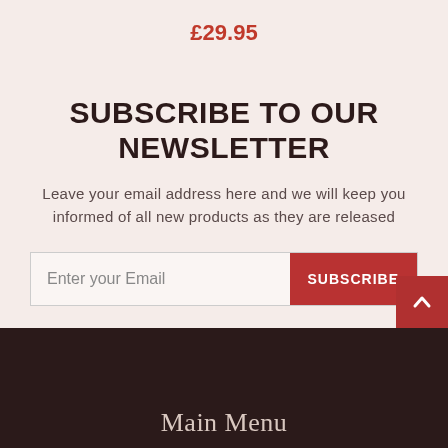£29.95
SUBSCRIBE TO OUR NEWSLETTER
Leave your email address here and we will keep you informed of all new products as they are released
Enter your Email
SUBSCRIBE
Main Menu